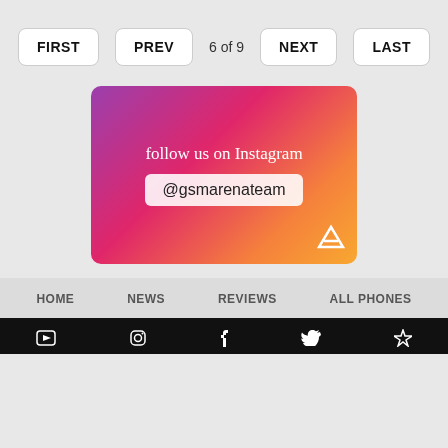FIRST   PREV   6 of 9   NEXT   LAST
[Figure (screenshot): Instagram promotional image with gradient background (purple to orange) showing text 'follow us on Instagram' and '@gsmarenateam' in a rounded rectangle, with GSMArena logo at bottom right.]
HOME   NEWS   REVIEWS   ALL PHONES